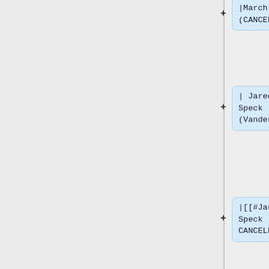|March 23 (CANCELLED)
| Jared Speck (Vanderbilt)
|[[#Jared Speck | CANCELLED ]]
| Schrecker
|-
|March 30 (CANCELLED)
| Huy Nguyen (Brown)
|[[#Huy Nguyen |